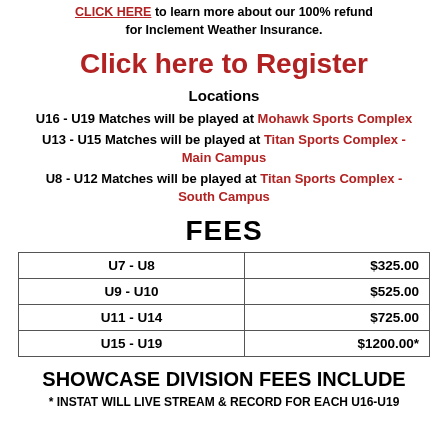CLICK HERE to learn more about our 100% refund for Inclement Weather Insurance.
Click here to Register
Locations
U16 - U19 Matches will be played at Mohawk Sports Complex
U13 - U15 Matches will be played at Titan Sports Complex - Main Campus
U8 - U12 Matches will be played at Titan Sports Complex - South Campus
FEES
|  |  |
| --- | --- |
| U7 - U8 | $325.00 |
| U9 - U10 | $525.00 |
| U11 - U14 | $725.00 |
| U15 - U19 | $1200.00* |
SHOWCASE DIVISION FEES INCLUDE
* INSTAT WILL LIVE STREAM & RECORD FOR EACH U16-U19